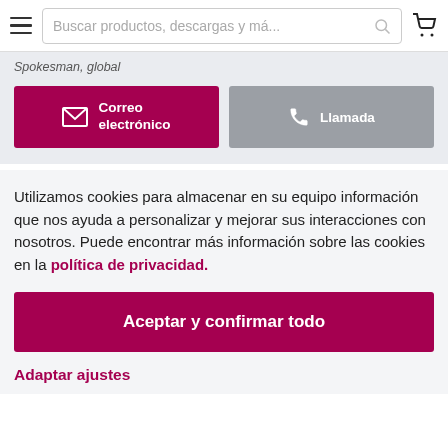Buscar productos, descargas y má...
Spokesman, global
Correo electrónico
Llamada
Utilizamos cookies para almacenar en su equipo información que nos ayuda a personalizar y mejorar sus interacciones con nosotros. Puede encontrar más información sobre las cookies en la política de privacidad.
Aceptar y confirmar todo
Adaptar ajustes